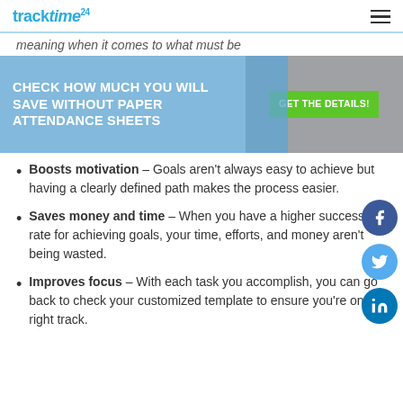tracktime24 [logo] [hamburger menu]
meaning when it comes to what must be
[Figure (infographic): Blue banner ad: CHECK HOW MUCH YOU WILL SAVE WITHOUT PAPER ATTENDANCE SHEETS with a green GET THE DETAILS! button on grey background]
Boosts motivation – Goals aren't always easy to achieve but having a clearly defined path makes the process easier.
Saves money and time – When you have a higher success rate for achieving goals, your time, efforts, and money aren't being wasted.
Improves focus – With each task you accomplish, you can go back to check your customized template to ensure you're on the right track.
[Figure (infographic): Social sharing icons: Facebook (dark blue circle), Twitter (light blue circle), LinkedIn (blue circle)]